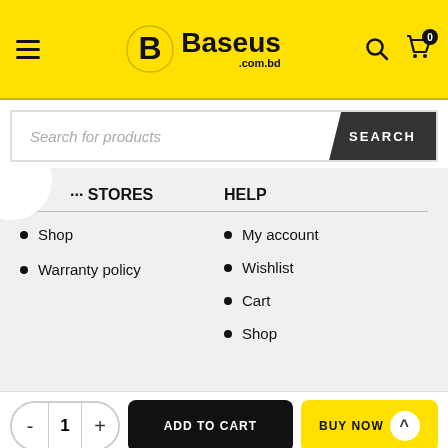Baseus.com.bd — navigation header with hamburger menu, logo, search icon, cart icon
Search for products
... STORES
Shop
Warranty policy
HELP
My account
Wishlist
Cart
Shop
- 1 + ADD TO CART BUY NOW
Home | Call | Cart | My account | Messanger